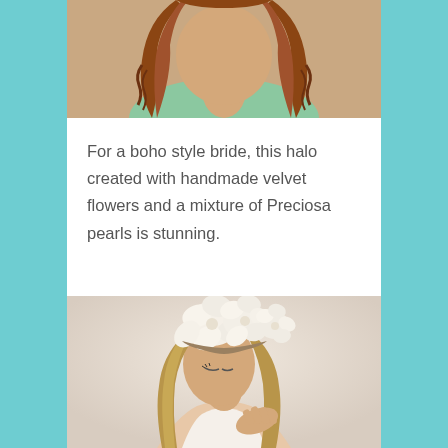[Figure (photo): Top portion of a woman with long wavy auburn/brown hair, wearing a light green top, photographed from shoulders up.]
For a boho style bride, this halo created with handmade velvet flowers and a mixture of Preciosa pearls is stunning.
[Figure (photo): A woman with long wavy blonde/brown hair wearing a large floral white/cream halo headpiece made of velvet flowers, looking down with hand on shoulder, against a beige background.]